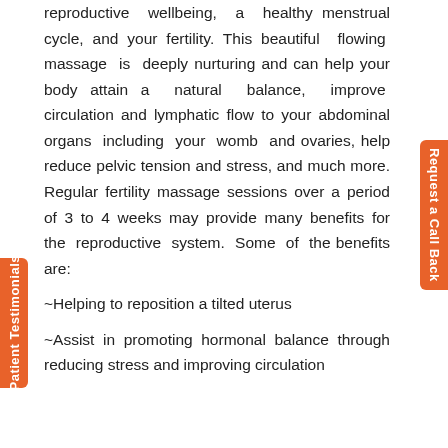reproductive wellbeing, a healthy menstrual cycle, and your fertility. This beautiful flowing massage is deeply nurturing and can help your body attain a natural balance, improve circulation and lymphatic flow to your abdominal organs including your womb and ovaries, help reduce pelvic tension and stress, and much more. Regular fertility massage sessions over a period of 3 to 4 weeks may provide many benefits for the reproductive system. Some of the benefits are:
~Helping to reposition a tilted uterus
~Assist in promoting hormonal balance through reducing stress and improving circulation